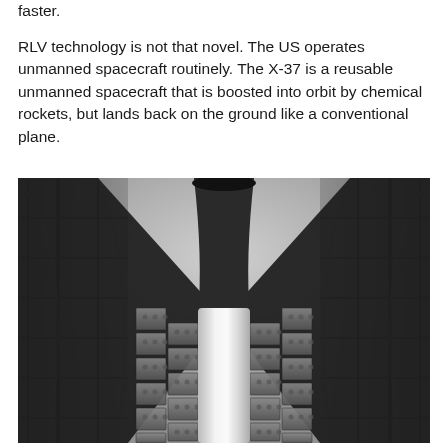faster.
RLV technology is not that novel. The US operates unmanned spacecraft routinely. The X-37 is a reusable unmanned spacecraft that is boosted into orbit by chemical rockets, but lands back on the ground like a conventional plane.
[Figure (photo): Black and white photograph taken from below looking up at a spacecraft (X-37) inside a rocket fairing, showing the nose cone and heat shield panels, with launch structure scaffolding visible on both sides.]